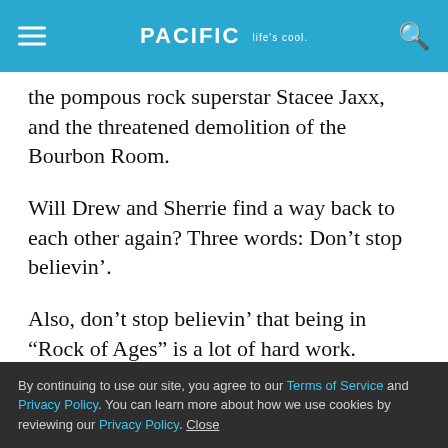PACIFIC Life's cool.
the pompous rock superstar Stacee Jaxx, and the threatened demolition of the Bourbon Room.
Will Drew and Sherrie find a way back to each other again? Three words: Don’t stop believin’.
Also, don’t stop believin’ that being in “Rock of Ages” is a lot of hard work.
Gilbert, a San Diego newcomer who also played Drew in a South Carolina production two years ago, says he’s trying to limit even talking to people in order to preserve his voice.
By continuing to use our site, you agree to our Terms of Service and Privacy Policy. You can learn more about how we use cookies by reviewing our Privacy Policy. Close